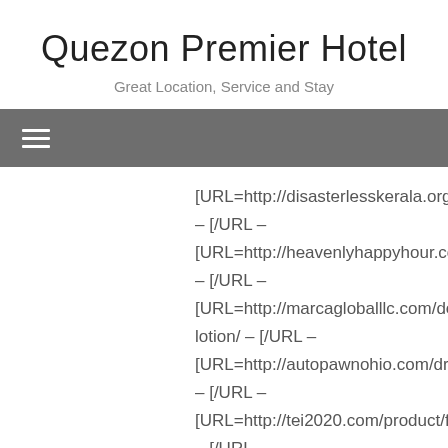Quezon Premier Hotel
Great Location, Service and Stay
≡ (navigation menu)
[URL=http://disasterlesskerala.org/prosolution/ – [/URL – [URL=http://heavenlyhappyhour.com/temovate/ – [/URL – [URL=http://marcagloballlc.com/desowen-lotion/ – [/URL – [URL=http://autopawnohio.com/drug/ziac/ – [/URL – [URL=http://tei2020.com/product/furosemide/ – [/URL – [URL=http://beauviva.com/adaferin-gel/ – [/URL – [URL=http://tripgeneration.org/sublingual-cialis/ – [/URL – [URL=http://umichicago.com/secure-buy-levitra-online-europelevitra-prices-costco/ – [/URL –